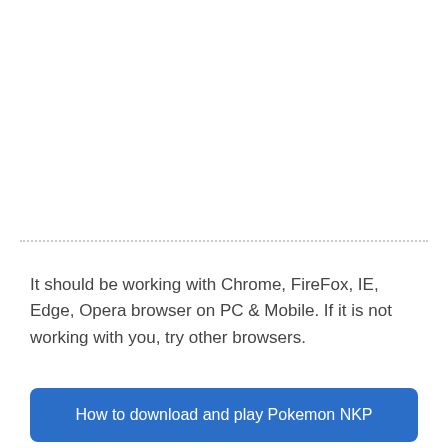It should be working with Chrome, FireFox, IE, Edge, Opera browser on PC & Mobile. If it is not working with you, try other browsers.
How to download and play Pokemon NKP